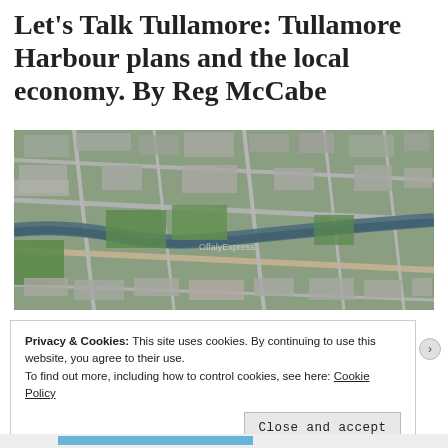Let's Talk Tullamore: Tullamore Harbour plans and the local economy. By Reg McCabe
[Figure (photo): Aerial photograph of Tullamore town showing the canal, streets, buildings, residential areas and green spaces from above]
Privacy & Cookies: This site uses cookies. By continuing to use this website, you agree to their use.
To find out more, including how to control cookies, see here: Cookie Policy
Close and accept